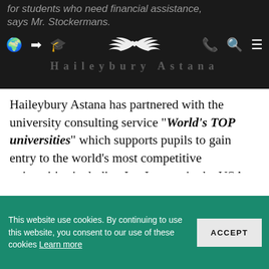for students who need financial assistance, says Mr. Stockermans.
[Figure (screenshot): Dark navigation bar with icons: globe, arrow, graduation cap, winged heart logo in center, phone, search, and hamburger menu icons]
Haileybury Astana has partnered with the university consulting service "World's TOP universities" which supports pupils to gain entry to the world's most competitive universities including Ivy League in the USA, and Oxford, Cambridge, and Russell Group universities in the UK.
Pupils who are applying to universities in any country have access to specialised advice and counselling so that they make the best possible
This website use cookies. By continuing to use this website, you consent to our use of these cookies Learn more